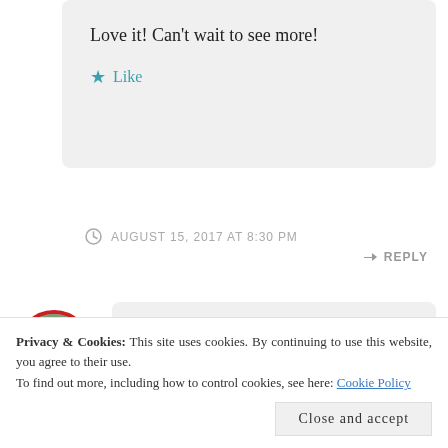Love it! Can't wait to see more!
★ Like
AUGUST 15, 2017 AT 8:30 PM
↳ REPLY
[Figure (photo): Circular profile photo of a woman with a red border]
iamsarahlin
Privacy & Cookies: This site uses cookies. By continuing to use this website, you agree to their use.
To find out more, including how to control cookies, see here: Cookie Policy
Close and accept